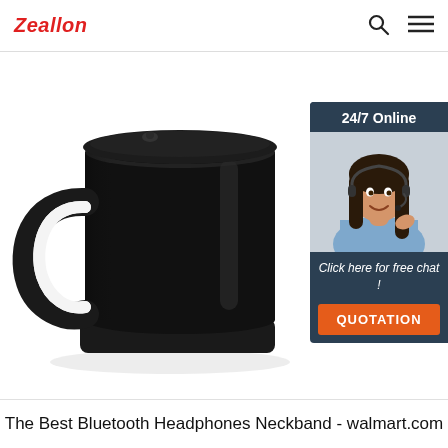Zeallon
[Figure (photo): A black ceramic coffee mug with a handle, placed on a square black coaster/warmer pad, on a white background. There is a 24/7 online chat widget overlay in the upper right showing a female customer service representative wearing a headset, with text 'Click here for free chat!' and an orange QUOTATION button.]
The Best Bluetooth Headphones Neckband - walmart.com